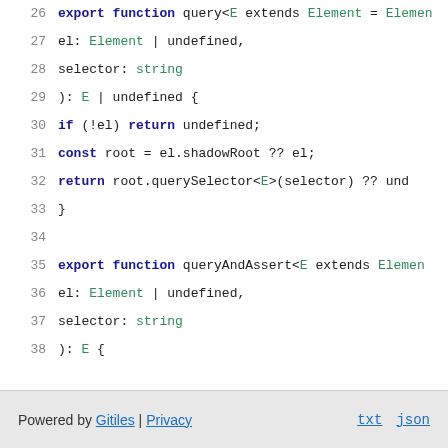Code snippet lines 26-42: TypeScript functions query and queryAndAssert
Powered by Gitiles | Privacy    txt  json